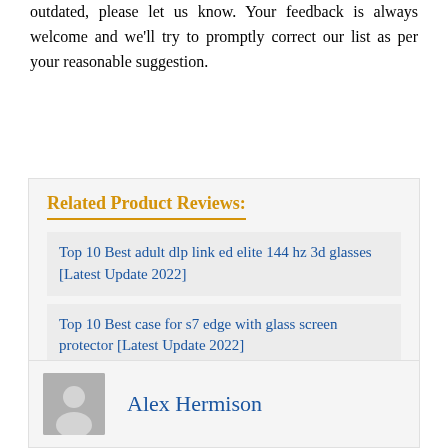outdated, please let us know. Your feedback is always welcome and we'll try to promptly correct our list as per your reasonable suggestion.
Related Product Reviews:
Top 10 Best adult dlp link ed elite 144 hz 3d glasses [Latest Update 2022]
Top 10 Best case for s7 edge with glass screen protector [Latest Update 2022]
Top 10 Best huawei mate 20 lite sne lx3 [Latest Update 2022]
Alex Hermison